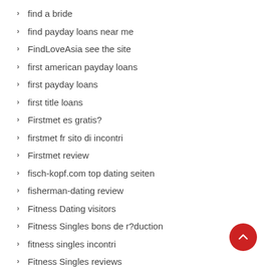find a bride
find payday loans near me
FindLoveAsia see the site
first american payday loans
first payday loans
first title loans
Firstmet es gratis?
firstmet fr sito di incontri
Firstmet review
fisch-kopf.com top dating seiten
fisherman-dating review
Fitness Dating visitors
Fitness Singles bons de r?duction
fitness singles incontri
Fitness Singles reviews